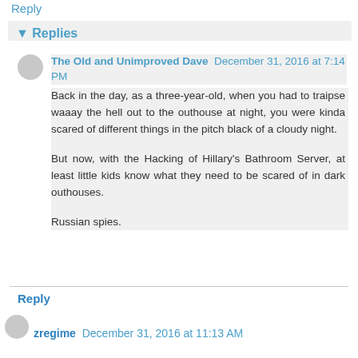Reply
▼ Replies
The Old and Unimproved Dave  December 31, 2016 at 7:14 PM
Back in the day, as a three-year-old, when you had to traipse waaay the hell out to the outhouse at night, you were kinda scared of different things in the pitch black of a cloudy night.

But now, with the Hacking of Hillary's Bathroom Server, at least little kids know what they need to be scared of in dark outhouses.

Russian spies.
Reply
zregime  December 31, 2016 at 11:13 AM